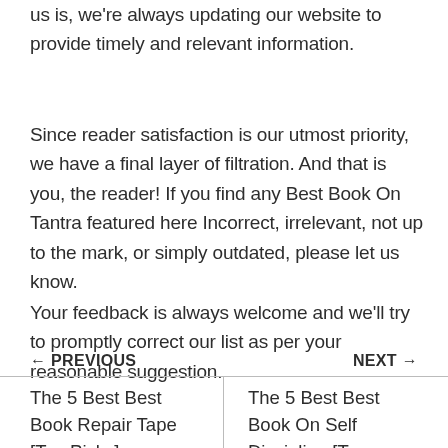us is, we're always updating our website to provide timely and relevant information.
Since reader satisfaction is our utmost priority, we have a final layer of filtration. And that is you, the reader! If you find any Best Book On Tantra featured here Incorrect, irrelevant, not up to the mark, or simply outdated, please let us know.
Your feedback is always welcome and we'll try to promptly correct our list as per your reasonable suggestion.
← PREVIOUS
NEXT →
The 5 Best Best Book Repair Tape [Top Picks]
The 5 Best Best Book On Self Discipline [Top